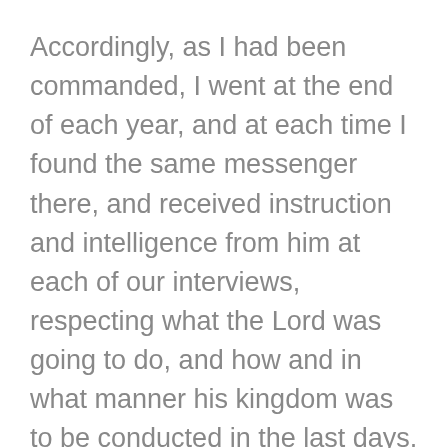Accordingly, as I had been commanded, I went at the end of each year, and at each time I found the same messenger there, and received instruction and intelligence from him at each of our interviews, respecting what the Lord was going to do, and how and in what manner his kingdom was to be conducted in the last days.
As my father's worldly circumstances were very limited, we were under the necessity of laboring with our hands, hiring out by day's work and otherwise, as we could get opportunity. Sometimes we were at home, and sometimes abroad, and by continuous labor were enabled to get a